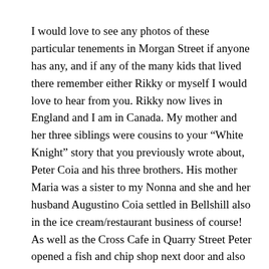I would love to see any photos of these particular tenements in Morgan Street if anyone has any, and if any of the many kids that lived there remember either Rikky or myself I would love to hear from you. Rikky now lives in England and I am in Canada. My mother and her three siblings were cousins to your “White Knight” story that you previously wrote about, Peter Coia and his three brothers. His mother Maria was a sister to my Nonna and she and her husband Augustino Coia settled in Bellshill also in the ice cream/restaurant business of course! As well as the Cross Cafe in Quarry Street Peter opened a fish and chip shop next door and also had a billiard hall. Peter was an international table tennis champion and sports promoter and was president of the Ice Cream Assoc. of Britain and Ireland. A very benevolent man he opened the